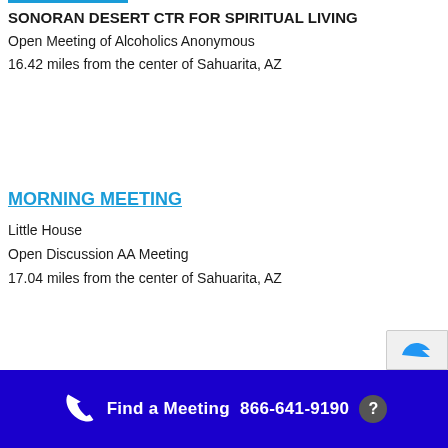SONORAN DESERT CTR FOR SPIRITUAL LIVING
Open Meeting of Alcoholics Anonymous
16.42 miles from the center of Sahuarita, AZ
MORNING MEETING
Little House
Open Discussion AA Meeting
17.04 miles from the center of Sahuarita, AZ
Find a Meeting  866-641-9190